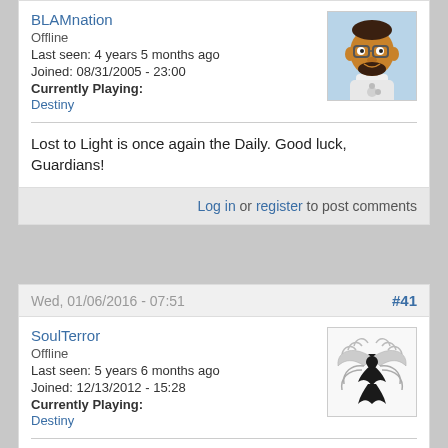BLAMnation
Offline
Last seen: 4 years 5 months ago
Joined: 08/31/2005 - 23:00
Currently Playing:
Destiny
[Figure (illustration): Simpsons-style cartoon avatar of a dark-skinned man with glasses and a beard]
Lost to Light is once again the Daily. Good luck, Guardians!
Log in or register to post comments
Wed, 01/06/2016 - 07:51
#41
SoulTerror
Offline
Last seen: 5 years 6 months ago
Joined: 12/13/2012 - 15:28
Currently Playing:
Destiny
[Figure (illustration): Phoenix or Firebird logo — black bird with spread wings, grey decorative wing feathers, on white background]
Good luck!